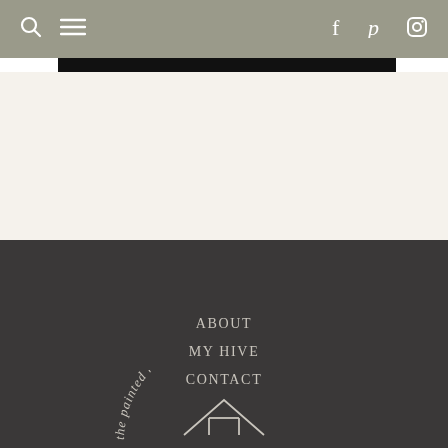navigation bar with search, menu, facebook, pinterest, instagram icons
[Figure (illustration): Black horizontal bar partially visible at top below navigation]
[Figure (illustration): Cream/off-white content area below black bar]
ABOUT
MY HIVE
CONTACT
[Figure (logo): The Painted Hive circular logo with house/roof line drawing and curved text reading 'the painted hive' arching over a geometric house outline]